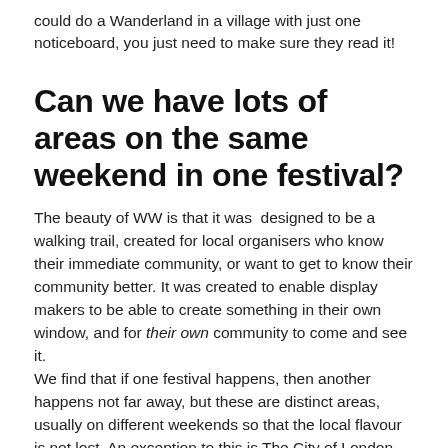could do a Wanderland in a village with just one noticeboard, you just need to make sure they read it!
Can we have lots of areas on the same weekend in one festival?
The beauty of WW is that it was designed to be a walking trail, created for local organisers who know their immediate community, or want to get to know their community better. It was created to enable display makers to be able to create something in their own window, and for their own community to come and see it.
We find that if one festival happens, then another happens not far away, but these are distinct areas, usually on different weekends so that the local flavour is not lost. An exception to this is The City of London worked with us to create a Wanderland over one weekend in several housing estates.